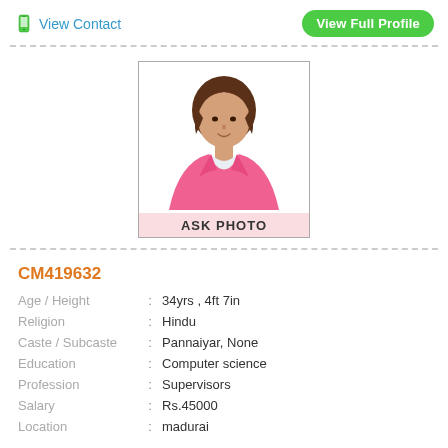View Contact
View Full Profile
[Figure (illustration): Female avatar/silhouette wearing a pink blazer with brown hair, with 'ASK PHOTO' label at the bottom in a bordered photo box]
CM419632
| Field | : | Value |
| --- | --- | --- |
| Age / Height | : | 34yrs , 4ft 7in |
| Religion | : | Hindu |
| Caste / Subcaste | : | Pannaiyar, None |
| Education | : | Computer science |
| Profession | : | Supervisors |
| Salary | : | Rs.45000 |
| Location | : | madurai |